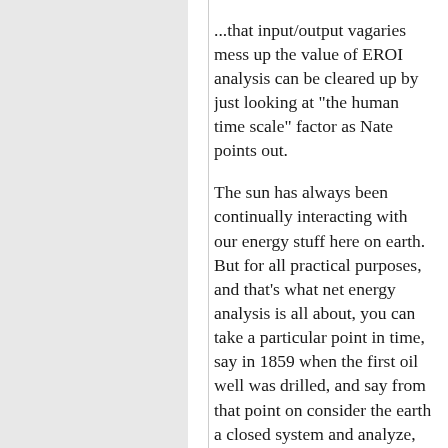...that input/output vagaries mess up the value of EROI analysis can be cleared up by just looking at "the human time scale" factor as Nate points out.

The sun has always been continually interacting with our energy stuff here on earth. But for all practical purposes, and that's what net energy analysis is all about, you can take a particular point in time, say in 1859 when the first oil well was drilled, and say from that point on consider the earth a closed system and analyze, as the above chart says, where each